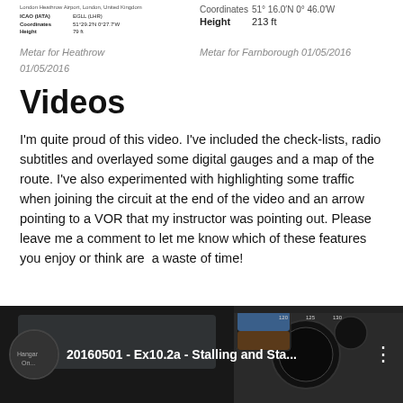| London Heathrow Airport, London, United Kingdom |
| ICAO (IATA) | EGLL (LHR) |
| Coordinates | 51°28′35″N 0°27′23″W |
| Height | 75 ft |
| Coordinates | 51° 16.0′N 0° 46.0′W |
| Height | 213 ft |
Metar for Heathrow 01/05/2016
Metar for Farnborough 01/05/2016
Videos
I'm quite proud of this video. I've included the check-lists, radio subtitles and overlayed some digital gauges and a map of the route. I've also experimented with highlighting some traffic when joining the circuit at the end of the video and an arrow pointing to a VOR that my instructor was pointing out. Please leave me a comment to let me know which of these features you enjoy or think are  a waste of time!
[Figure (screenshot): YouTube video thumbnail showing cockpit view with title '20160501 - Ex10.2a - Stalling and Sta...']